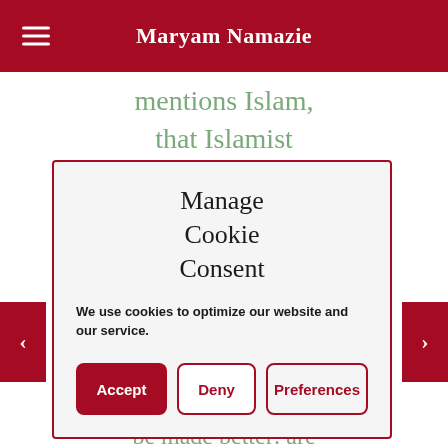Maryam Namazie
mentions Islam, that Islamist
Manage Cookie Consent
We use cookies to optimize our website and our service.
Accept
Deny
Preferences
cores in the way they're talking about, but the analogy can easily be made better: are